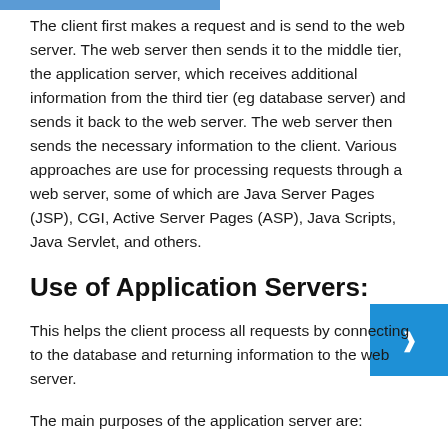The client first makes a request and is send to the web server. The web server then sends it to the middle tier, the application server, which receives additional information from the third tier (eg database server) and sends it back to the web server. The web server then sends the necessary information to the client. Various approaches are use for processing requests through a web server, some of which are Java Server Pages (JSP), CGI, Active Server Pages (ASP), Java Scripts, Java Servlet, and others.
Use of Application Servers:
This helps the client process all requests by connecting to the database and returning information to the web server.
The main purposes of the application server are:
A mechanism for reducing the size and complexity of client programs.